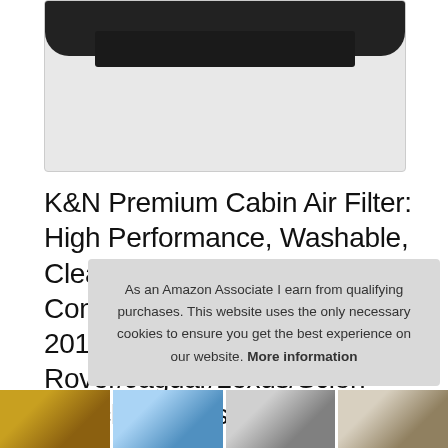[Figure (photo): Product image area showing a dark/black cabin air filter product against a light gray background]
K&N Premium Cabin Air Filter: High Performance, Washable, Clean Airflow to your Cabin: Compatible with Select 2000-2019 Toyota/Subaru/Land Rover/Jaguar/Lexus/Scion Vehicle Models VF2000
#ad
As an Amazon Associate I earn from qualifying purchases. This website uses the only necessary cookies to ensure you get the best experience on our website. More information
[Figure (photo): Row of four small thumbnail product images at the bottom of the page]